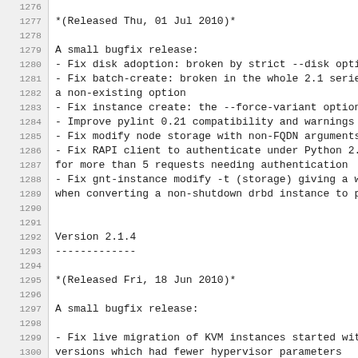1276
1277 *(Released Thu, 01 Jul 2010)*
1278
1279 A small bugfix release:
1280   - Fix disk adoption: broken by strict --disk option c
1281   - Fix batch-create: broken in the whole 2.1 series du
1282       a non-existing option
1283   - Fix instance create: the --force-variant option was
1284   - Improve pylint 0.21 compatibility and warnings with
1285   - Fix modify node storage with non-FQDN arguments
1286   - Fix RAPI client to authenticate under Python 2.6 wh
1287       for more than 5 requests needing authentication
1288   - Fix gnt-instance modify -t (storage) giving a wrong
1289       when converting a non-shutdown drbd instance to pla
1290
1291
1292 Version 2.1.4
1293 -------------
1294
1295 *(Released Fri, 18 Jun 2010)*
1296
1297 A small bugfix release:
1298
1299   - Fix live migration of KVM instances started with ol
1300       versions which had fewer hypervisor parameters
1301   - Fix gnt-instance grow-disk on down instances
1302   - Fix an error-reporting bug during instance migratio